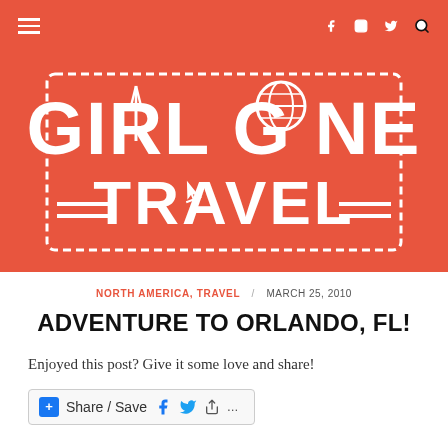≡  f  Instagram  Twitter  🔍
[Figure (logo): Girl Gone Travel logo — white text on coral/red-orange background inside a dashed border rectangle. Large bold letters GIRL GONE TRAVEL with icons: fork replacing I in GIRL, globe replacing O in GONE, airplane replacing A in TRAVEL. Decorative horizontal lines flank TRAVEL.]
NORTH AMERICA, TRAVEL / MARCH 25, 2010
ADVENTURE TO ORLANDO, FL!
Enjoyed this post? Give it some love and share!
+ Share / Save  f  🐦  ↗  ...